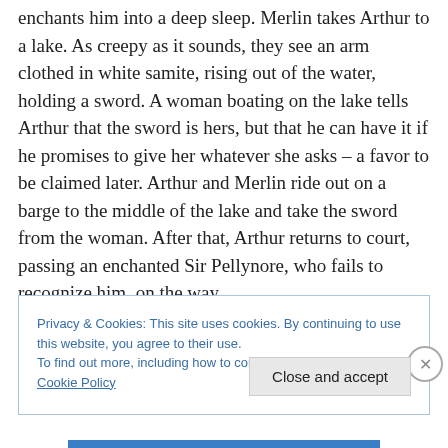enchants him into a deep sleep. Merlin takes Arthur to a lake. As creepy as it sounds, they see an arm clothed in white samite, rising out of the water, holding a sword. A woman boating on the lake tells Arthur that the sword is hers, but that he can have it if he promises to give her whatever she asks – a favor to be claimed later. Arthur and Merlin ride out on a barge to the middle of the lake and take the sword from the woman. After that, Arthur returns to court, passing an enchanted Sir Pellynore, who fails to recognize him, on the way.
Privacy & Cookies: This site uses cookies. By continuing to use this website, you agree to their use. To find out more, including how to control cookies, see here: Cookie Policy